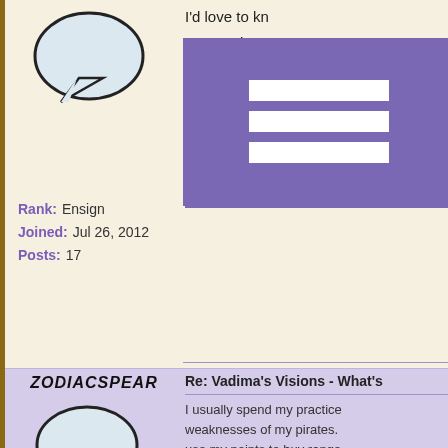[Figure (illustration): Speech bubble avatar icon for first user]
Rank: Ensign
Joined: Jul 26, 2012
Posts: 17
I'd love to kn or enemies a
[Figure (screenshot): Purple menu block with three white horizontal bars]
ZODIACSPEAR
[Figure (illustration): Speech bubble avatar icon for ZodiacSpear]
Re: Vadima's Visions - What's
I usually spend my practice weaknesses of my pirates. use my points to buy range abilities enough to not have weaknesses and the much
Rank: Ensign
Joined: Jun 18, 2013
Posts: 33
WITCHDOCTOR WEBB
[Figure (illustration): WitchDoctor Webb character illustration - purple haired skull character]
Re: Vadima's Visions - What's
hmm. the way i choosen my although i am a fearless wit slashy weapons. i like to ke